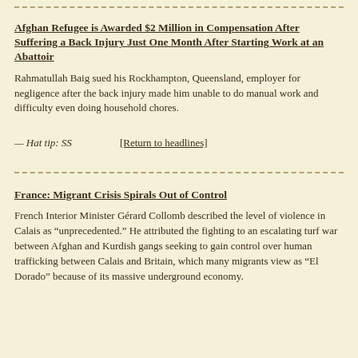Afghan Refugee is Awarded $2 Million in Compensation After Suffering a Back Injury Just One Month After Starting Work at an Abattoir
Rahmatullah Baig sued his Rockhampton, Queensland, employer for negligence after the back injury made him unable to do manual work and difficulty even doing household chores.
— Hat tip: SS        [Return to headlines]
France: Migrant Crisis Spirals Out of Control
French Interior Minister Gérard Collomb described the level of violence in Calais as “unprecedented.” He attributed the fighting to an escalating turf war between Afghan and Kurdish gangs seeking to gain control over human trafficking between Calais and Britain, which many migrants view as “El Dorado” because of its massive underground economy.